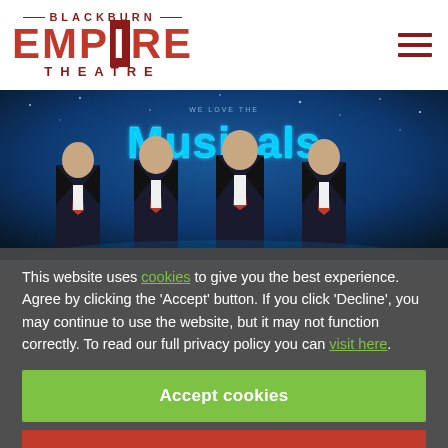Blackburn Empire Theatre — logo and navigation
[Figure (photo): Promotional banner for 'Musicals' show featuring four men in black suits with red ties standing in front of a blue glowing stage backdrop with the word Musicals in lit-up letters]
This website uses cookies to give you the best experience. Agree by clicking the 'Accept' button. If you click 'Decline', you may continue to use the website, but it may not function correctly. To read our full privacy policy you can visit here.
Accept cookies
Decline cookies